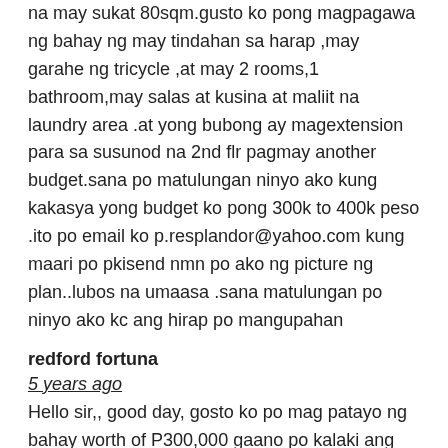na may sukat 80sqm.gusto ko pong magpagawa ng bahay ng may tindahan sa harap ,may garahe ng tricycle ,at may 2 rooms,1 bathroom,may salas at kusina at maliit na laundry area .at yong bubong ay magextension para sa susunod na 2nd flr pagmay another budget.sana po matulungan ninyo ako kung kakasya yong budget ko pong 300k to 400k peso .ito po email ko p.resplandor@yahoo.com kung maari po pkisend nmn po ako ng picture ng plan..lubos na umaasa .sana matulungan po ninyo ako kc ang hirap po mangupahan
redford fortuna
5 years ago
Hello sir,, good day, gosto ko po mag patayo ng bahay worth of P300,000 gaano po kalaki ang maipagawa kong bahay sa ganun worth po,, ito po email add ko po redford38@yahoo.com thank po god bless
William Baxter